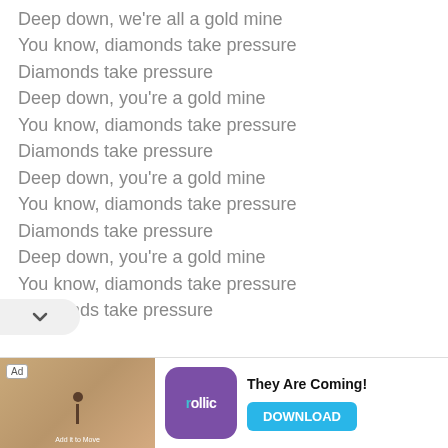Deep down, we're all a gold mine
You know, diamonds take pressure
Diamonds take pressure
Deep down, you're a gold mine
You know, diamonds take pressure
Diamonds take pressure
Deep down, you're a gold mine
You know, diamonds take pressure
Diamonds take pressure
Deep down, you're a gold mine
You know, diamonds take pressure
Diamonds take pressure
[Figure (other): Advertisement banner for Rollic game 'They Are Coming!' with download button]
Ad · Rollic · They Are Coming! · DOWNLOAD